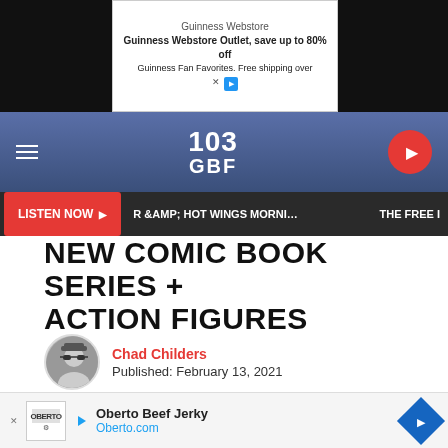[Figure (screenshot): Top advertisement banner: Guinness Webstore — Guinness Webstore Outlet, save up to 80% off Guinness Fan Favorites. Free shipping over]
[Figure (logo): 103 GBF radio station header with hamburger menu left, play button circle right, blue gradient background]
LISTEN NOW ▶   R &AMP; HOT WINGS MORNING SHOW   THE FREE I
NEW COMIC BOOK SERIES + ACTION FIGURES
Chad Childers
Published: February 13, 2021
Share   Tweet
It's quite the week to spread a little "filth." Following on the heels of Dani Filth's recent casting in a horror movie comes word that Incendium and Heavy Metal Entertainment are releasing... And yes, yo... series